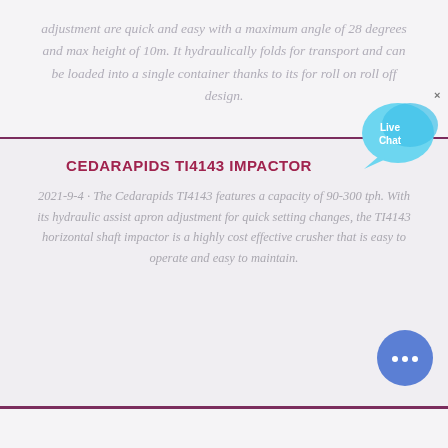adjustment are quick and easy with a maximum angle of 28 degrees and max height of 10m. It hydraulically folds for transport and can be loaded into a single container thanks to its for roll on roll off design.
CEDARAPIDS TI4143 IMPACTOR
2021-9-4 · The Cedarapids TI4143 features a capacity of 90-300 tph. With its hydraulic assist apron adjustment for quick setting changes, the TI4143 horizontal shaft impactor is a highly cost effective crusher that is easy to operate and easy to maintain.